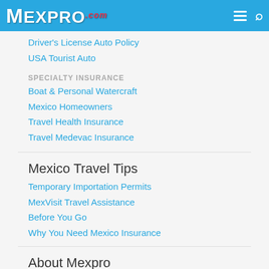[Figure (logo): Mexpro.com logo with sombrero hat graphic on blue header bar]
Driver's License Auto Policy
USA Tourist Auto
SPECIALTY INSURANCE
Boat & Personal Watercraft
Mexico Homeowners
Travel Health Insurance
Travel Medevac Insurance
Mexico Travel Tips
Temporary Importation Permits
MexVisit Travel Assistance
Before You Go
Why You Need Mexico Insurance
About Mexpro
About Us
Customer Service
Claims
FAQs
Our Insurers